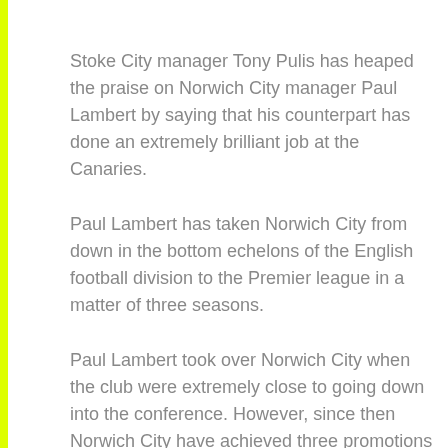Stoke City manager Tony Pulis has heaped the praise on Norwich City manager Paul Lambert by saying that his counterpart has done an extremely brilliant job at the Canaries.
Paul Lambert has taken Norwich City from down in the bottom echelons of the English football division to the Premier league in a matter of three seasons.
Paul Lambert took over Norwich City when the club were extremely close to going down into the conference. However, since then Norwich City have achieved three promotions in a row to get into the Premier league. It is not like they have been struggling with time in the Premier league because Paul Lambert has been able to work out a strategy in order to survive in the top division of English football.